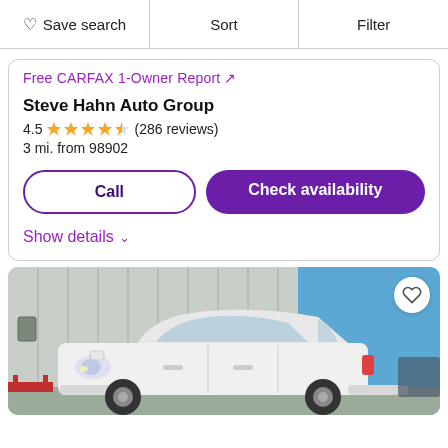♡ Save search   Sort   Filter
Free CARFAX 1-Owner Report ↗
Steve Hahn Auto Group
4.5 ★★★★☆ (286 reviews)
3 mi. from 98902
Call
Check availability
Show details ∨
[Figure (photo): White compact SUV/hatchback car photographed outdoors in a parking lot, with a metal building and blue sky in the background. A heart/favorite button is visible in the top-right corner of the image.]